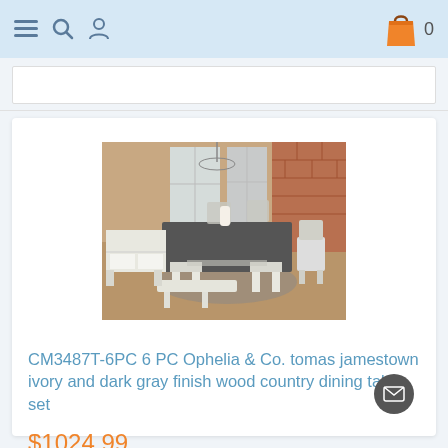Navigation bar with menu, search, user icons and shopping cart (0 items)
[Figure (photo): Dining room scene showing a country-style dining table set with white/ivory legs and dark gray top, bench, chairs, and a sideboard in a warm brick-wall room setting]
CM3487T-6PC 6 PC Ophelia & Co. tomas jamestown ivory and dark gray finish wood country dining table set
$1024.99